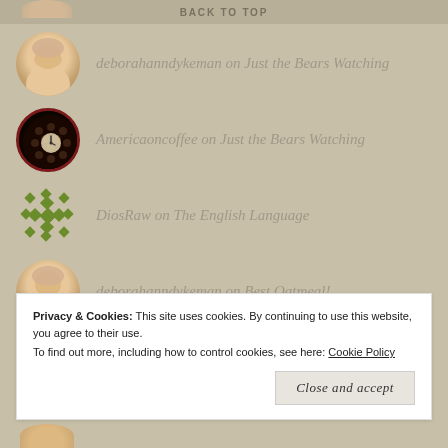BACK TO TOP
deborahanndykeman on Just the Bears Watching
Americaoncoffee on Just the Bears Watching
DiosRaw on The English Language
deborahanndykeman on Best Oatmeal!
Privacy & Cookies: This site uses cookies. By continuing to use this website, you agree to their use.
To find out more, including how to control cookies, see here: Cookie Policy
Close and accept